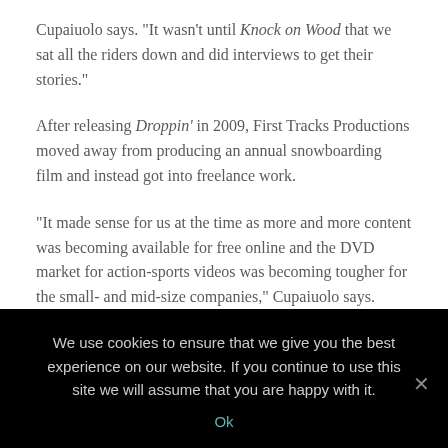Cupaiuolo says. "It wasn't until Knock on Wood that we sat all the riders down and did interviews to get their stories."
After releasing Droppin' in 2009, First Tracks Productions moved away from producing an annual snowboarding film and instead got into freelance work.
"It made sense for us at the time as more and more content was becoming available for free online and the DVD market for action-sports videos was becoming tougher for the small- and mid-size companies," Cupaiuolo says.
During the winter of 2013–14, Gary Bell, owner of South Shore's
We use cookies to ensure that we give you the best experience on our website. If you continue to use this site we will assume that you are happy with it.
Ok